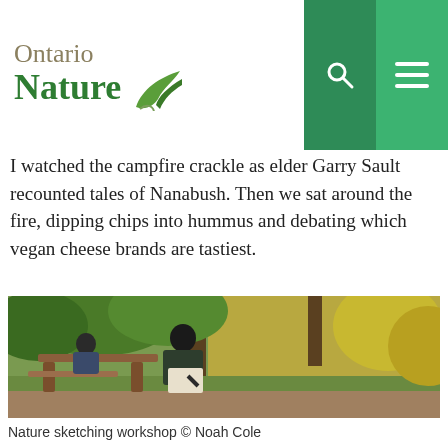Ontario Nature
I watched the campfire crackle as elder Garry Sault recounted tales of Nanabush. Then we sat around the fire, dipping chips into hummus and debating which vegan cheese brands are tastiest.
[Figure (photo): Two people sitting at a wooden picnic table outdoors, sketching or drawing in notebooks, surrounded by trees and green and yellow foliage in the background.]
Nature sketching workshop © Noah Cole